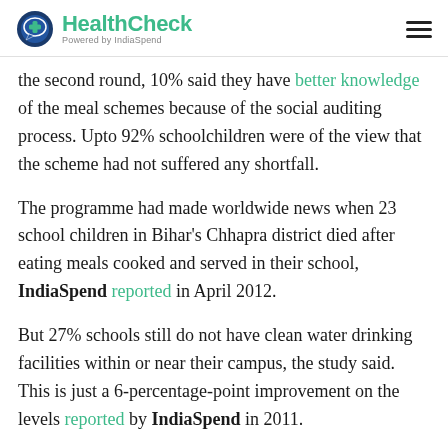HealthCheck — Powered by IndiaSpend
the second round, 10% said they have better knowledge of the meal schemes because of the social auditing process. Upto 92% schoolchildren were of the view that the scheme had not suffered any shortfall.
The programme had made worldwide news when 23 school children in Bihar's Chhapra district died after eating meals cooked and served in their school, IndiaSpend reported in April 2012.
But 27% schools still do not have clean water drinking facilities within or near their campus, the study said. This is just a 6-percentage-point improvement on the levels reported by IndiaSpend in 2011.